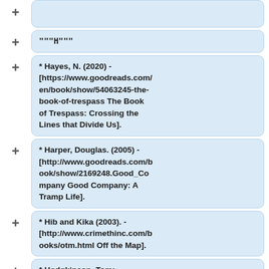"""H"""
* Hayes, N. (2020) - [https://www.goodreads.com/en/book/show/54063245-the-book-of-trespass The Book of Trespass: Crossing the Lines that Divide Us].
* Harper, Douglas. (2005) - [http://www.goodreads.com/book/show/2169248.Good_Company Good Company: A Tramp Life].
* Hib and Kika (2003). - [http://www.crimethinc.com/books/otm.html Off the Map].
* Hodgkinson, Tom: [https://www.goodreads.com/book/show/603848.The_Free